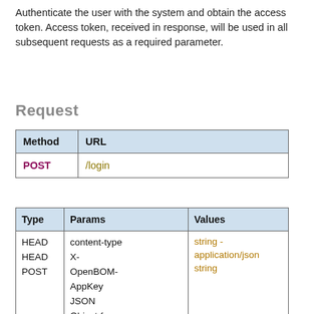Authenticate the user with the system and obtain the access token. Access token, received in response, will be used in all subsequent requests as a required parameter.
Request
| Method | URL |
| --- | --- |
| POST | /login |
| Type | Params | Values |
| --- | --- | --- |
| HEAD
HEAD
POST | content-type
X-OpenBOM-AppKey
JSON Object:{
username:...
password:... | string - application/json
string |